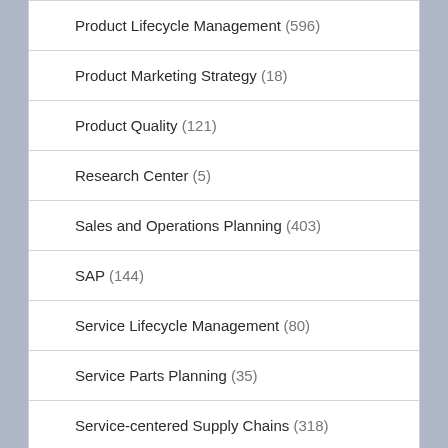Product Lifecycle Management (596)
Product Marketing Strategy (18)
Product Quality (121)
Research Center (5)
Sales and Operations Planning (403)
SAP (144)
Service Lifecycle Management (80)
Service Parts Planning (35)
Service-centered Supply Chains (318)